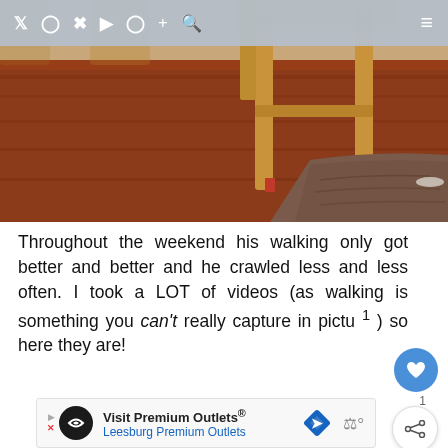Navigation bar with social icons: Twitter, Instagram, Pinterest, YouTube, Facebook, Plus, Search, and hamburger menu
[Figure (photo): Photo of a wooden chair leg and a brown/grey textured mat or rug on a hardwood floor indoors]
Throughout the weekend his walking only got better and better and he crawled less and less often. I took a LOT of videos (as walking is something you can't really capture in pictu[res] so here they are!
[Figure (other): Advertisement: Visit Premium Outlets® Leesburg Premium Outlets with logo and directional sign icon]